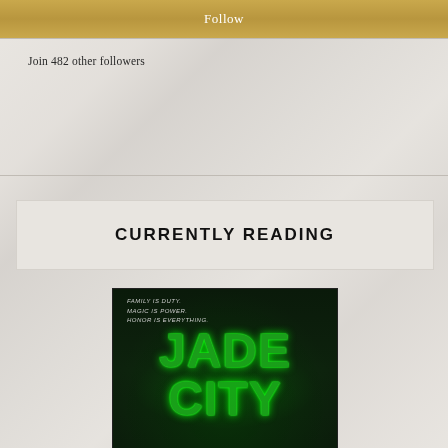Follow
Join 482 other followers
CURRENTLY READING
[Figure (photo): Book cover of Jade City by Fonda Lee. Dark green background with large green glowing title text 'JADE CITY'. Tagline reads: FAMILY IS DUTY. MAGIC IS POWER. HONOR IS EVERYTHING. Author name FONDA LEE at bottom.]